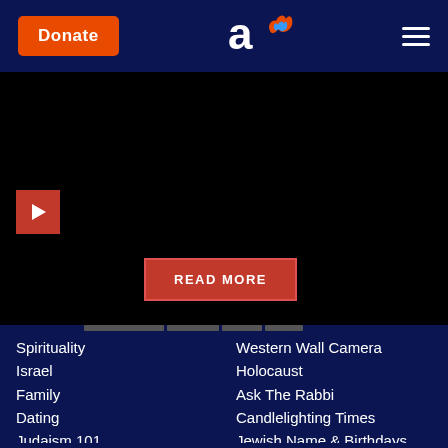Aish.com website header with Donate button, logo, and hamburger menu
[Figure (screenshot): Black video/media player area with a red play button icon on the left and a close (X) button in the top-right corner]
READ MORE
Spirituality
Israel
Family
Dating
Judaism 101
Jewlarious
Holidays
Videos
Weekly Torah Portion
Shabbat
Western Wall Camera
Holocaust
Ask The Rabbi
Candlelighting Times
Jewish Name & Birthdays
Kaddish Service
Aish Audio
Rabbi Noah
Seminars
Mobile App